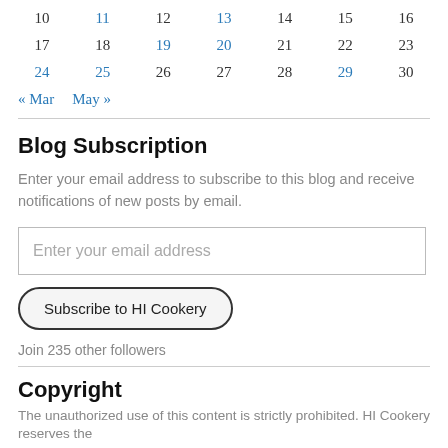| 10 | 11 | 12 | 13 | 14 | 15 | 16 |
| 17 | 18 | 19 | 20 | 21 | 22 | 23 |
| 24 | 25 | 26 | 27 | 28 | 29 | 30 |
« Mar   May »
Blog Subscription
Enter your email address to subscribe to this blog and receive notifications of new posts by email.
Enter your email address
Subscribe to HI Cookery
Join 235 other followers
Copyright